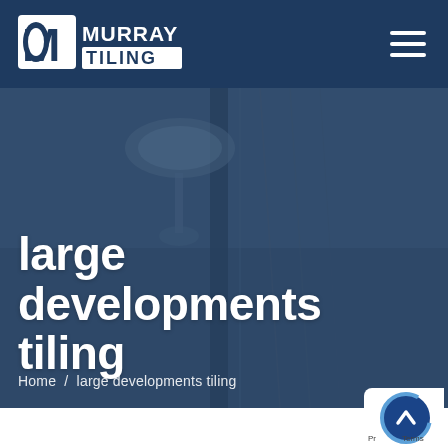[Figure (logo): Murray Tiling logo — white M in a square with rounded left side, followed by MURRAY TILING text on navy background]
[Figure (photo): Hero background image: a bathroom shower area with tiles and fixtures, overlaid with dark navy blue tint]
large developments tiling
Home  /  large developments tiling
[Figure (other): Scroll-to-top circular button with upward caret arrow, dark blue with circular progress indicator border]